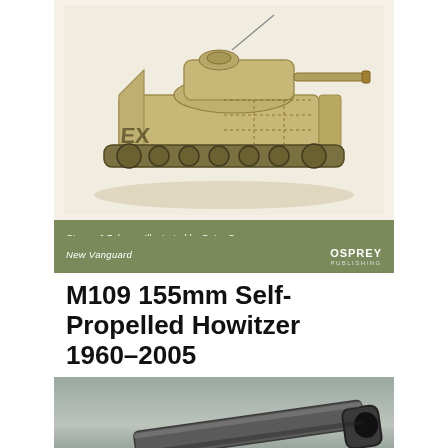[Figure (illustration): Military illustrated artwork of an M2/M3 Bradley Infantry Fighting Vehicle, sand-colored, shown from the side with cutaway detail, tracked vehicle with turret]
Steven J Zaloga · Illustrated by Peter Sarson
M2/M3 Bradley Infantry Fighting Vehicle 1983-95
New Vanguard
M109 155mm Self-Propelled Howitzer 1960–2005
[Figure (photo): Close-up photograph of the muzzle end of a large artillery barrel (howitzer gun barrel), against a grey sky background]